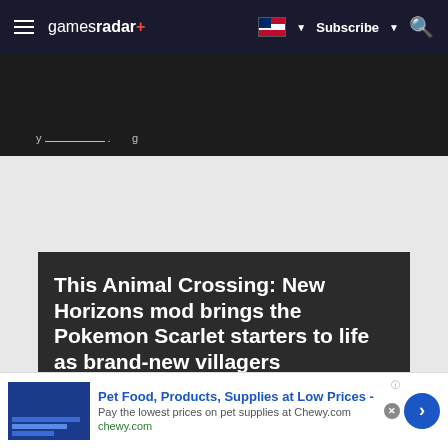gamesradar+ | Subscribe | Search
[Figure (screenshot): Dark image band at top with partial article image and text]
This Animal Crossing: New Horizons mod brings the Pokemon Scarlet starters to life as brand-new villagers
By Brittany Vincent 6 months ago
GAMING DEALS, PRIZES AND
[Figure (infographic): Advertisement banner: Pet Food, Products, Supplies at Low Prices - chewy.com]